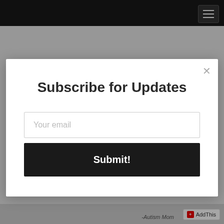Navigation bar with hamburger menu
Subscribe for Updates
Your email
Submit!
-Autism Mom
AddThis